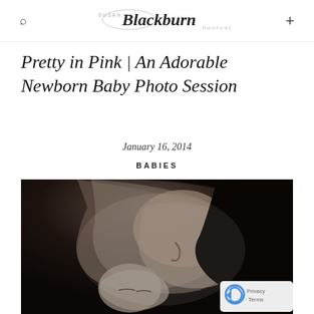Susan Blackburn Photography
Pretty in Pink | An Adorable Newborn Baby Photo Session
January 16, 2014
BABIES
[Figure (photo): Black and white photograph of a mother leaning down to touch noses with her sleeping newborn baby. The image is intimate and tender, shot in close-up with soft lighting.]